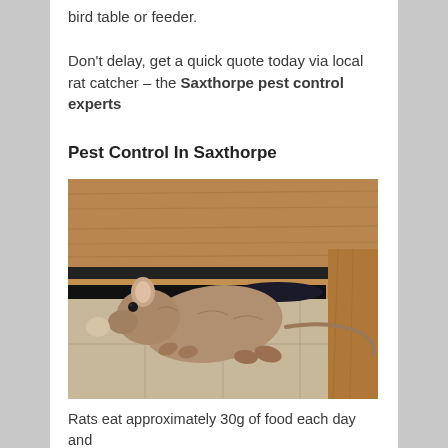bird table or feeder.
Don’t delay, get a quick quote today via local rat catcher – the Saxthorpe pest control experts
Pest Control In Saxthorpe
[Figure (photo): A brown rat squeezing under a wooden kitchen cabinet onto a tiled floor, with a black plastic bag visible in the gap behind it.]
Rats eat approximately 30g of food each day and...